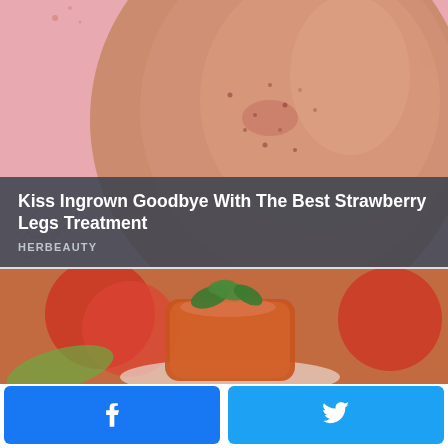[Figure (photo): Close-up of a person's leg with strawberry legs / ingrown hairs visible against a pink background with decorative leaf elements]
Kiss Ingrown Goodbye With The Best Strawberry Legs Treatment
HERBEAUTY
[Figure (photo): Close-up of a tomato aspic or tomato jelly dish garnished with fresh green herbs/parsley, with red tomatoes blurred in the background]
[Figure (other): Facebook share button (blue) and Twitter share button (blue) side by side]